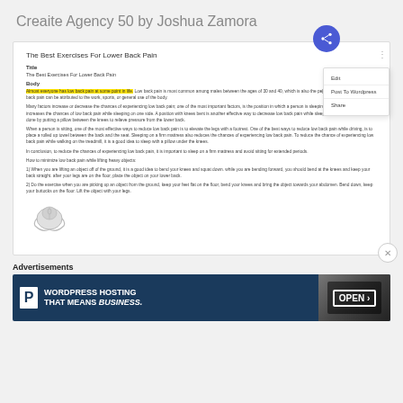Creaite Agency 50 by Joshua Zamora
[Figure (screenshot): Screenshot of a content editor showing 'The Best Exercises For Lower Back Pain' article with context menu showing Edit, Post To Wordpress, Share options and a share FAB button. Article body includes highlighted text and paragraphs about lower back pain exercises. A mouse image is shown at the bottom left of the card.]
Advertisements
[Figure (illustration): Advertisement banner: WordPress logo P icon on left, text 'WORDPRESS HOSTING THAT MEANS BUSINESS.' on dark blue background, and an OPEN sign image on the right.]